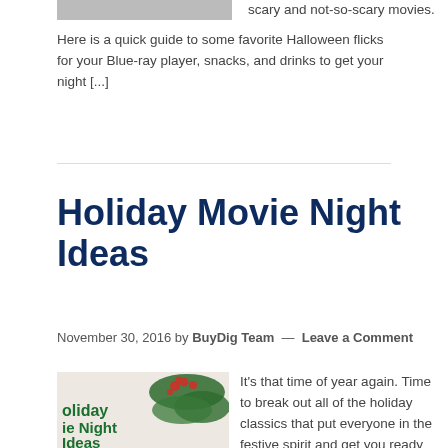[Figure (photo): Partial image cutoff at the top of the page]
scary and not-so-scary movies. Here is a quick guide to some favorite Halloween flicks for your Blue-ray player, snacks, and drinks to get your night [...]
Holiday Movie Night Ideas
November 30, 2016 by BuyDig Team — Leave a Comment
[Figure (photo): Holiday movie night image showing Christmas greenery with red berries and text overlay reading 'oliday ie Night Ideas']
It's that time of year again. Time to break out all of the holiday classics that put everyone in the festive spirit and get you ready